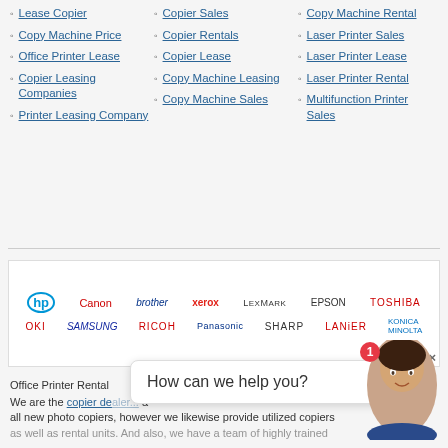Lease Copier
Copy Machine Price
Office Printer Lease
Copier Leasing Companies
Printer Leasing Company
Copier Sales
Copier Rentals
Copier Lease
Copy Machine Leasing
Copy Machine Sales
Copy Machine Rental
Laser Printer Sales
Laser Printer Lease
Laser Printer Rental
Multifunction Printer Sales
[Figure (logo): Brand logos banner: HP, Canon, brother, xerox, LEXMARK, EPSON, TOSHIBA, OKI, SAMSUNG, RICOH, Panasonic, SHARP, LANIER, Konica Minolta]
Office Printer Rental
We are the copier dealer... all new photo copiers, however we likewise provide utilized copiers as well as rental units. And also, we have a team of highly trained
How can we help you?